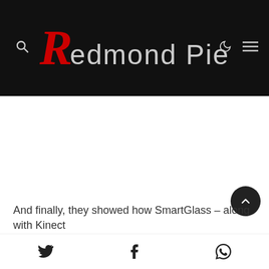Redmond Pie
[Figure (other): Large white advertisement/content area below the header]
And finally, they showed how SmartGlass – along with Kinect
Social share icons: Twitter, Facebook, WhatsApp